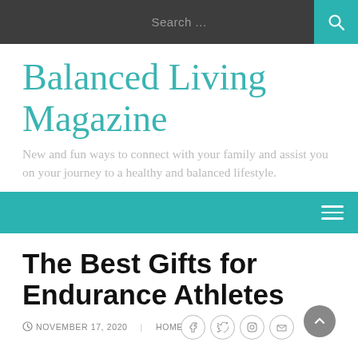Search ...
Balanced Living Magazine
New and fun ways to connect with your family and assist you on your journey to a healthy and balanced lifestyle.
The Best Gifts for Endurance Athletes
NOVEMBER 17, 2020   HOME